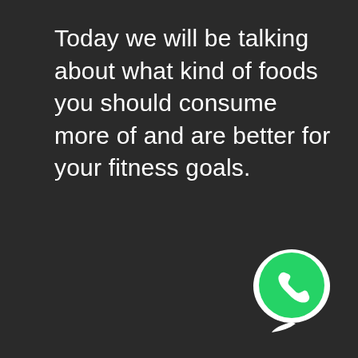Today we will be talking about what kind of foods you should consume more of and are better for your fitness goals.
[Figure (logo): WhatsApp logo - green circle with white phone handset icon inside a white speech bubble shape]